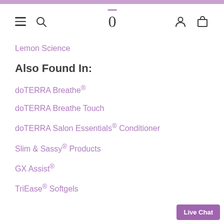Navigation bar with menu, search, logo, user, and cart icons
Lemon Science
Also Found In:
doTERRA Breathe®
doTERRA Breathe Touch
doTERRA Salon Essentials® Conditioner
Slim & Sassy® Products
GX Assist®
TriEase® Softgels
Live Chat